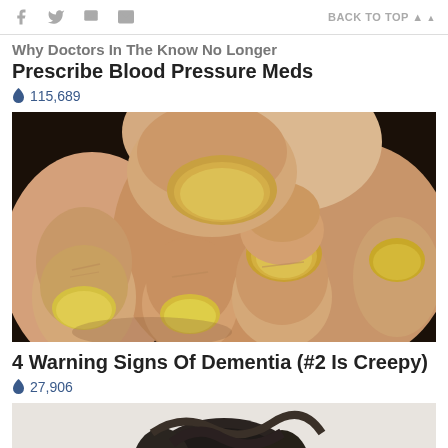f  🐦  🖨  ✉  BACK TO TOP ▲
Why Doctors In The Know No Longer Prescribe Blood Pressure Meds
🔥 115,689
[Figure (photo): Close-up photograph of fingers with yellowed, discolored fingernails indicative of nail fungus or other nail conditions]
4 Warning Signs Of Dementia (#2 Is Creepy)
🔥 27,906
[Figure (photo): Partial view of a person's head/hair at bottom of page]